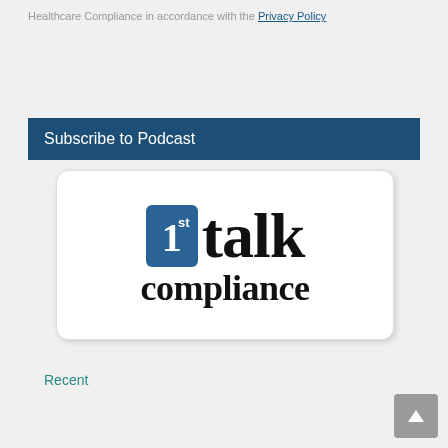Healthcare Compliance in accordance with the Privacy Policy
Subscribe to Podcast
[Figure (logo): 1st Talk Compliance podcast logo — blue square with '1st' in white and bold 'talk compliance' text in black]
Recent